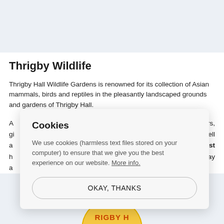[Figure (photo): Cloud and sky background at top of page]
Thrigby Wildlife
Thrigby Hall Wildlife Gardens is renowned for its collection of Asian mammals, birds and reptiles in the pleasantly landscaped grounds and gardens of Thrigby Hall.
A ... boards, rare tigers, gi ... p house, as well a ... cal and forest h ... several play a ...
Cookies
We use cookies (harmless text files stored on your computer) to ensure that we give you the best experience on our website. More info.
OKAY, THANKS
[Figure (logo): Thrigby Wildlife circular logo partially visible at bottom of page]